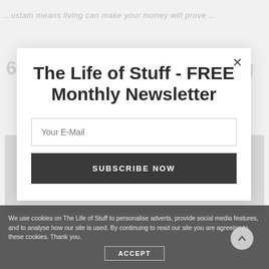...ustain means living can make your money with prove ...
6 Ways Sustainable Living
[Figure (photo): Background image strip showing sustainable living content]
The Life of Stuff - FREE Monthly Newsletter
Your E-Mail
SUBSCRIBE NOW
We use cookies on The Life of Stuff to personalise adverts, provide social media features, and to analyse how our site is used. By continuing to read our site you are agreeing to these cookies. Thank you.
ACCEPT